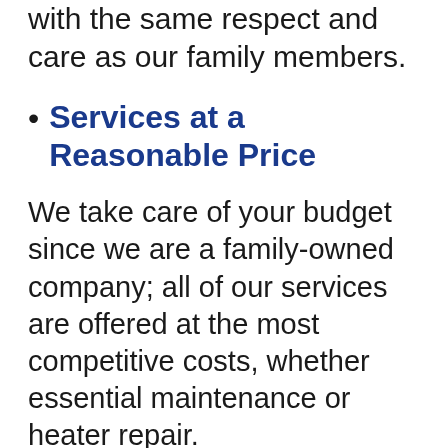with the same respect and care as our family members.
Services at a Reasonable Price
We take care of your budget since we are a family-owned company; all of our services are offered at the most competitive costs, whether essential maintenance or heater repair.
So, you're seeking the most effective air conditioning and furnace repair